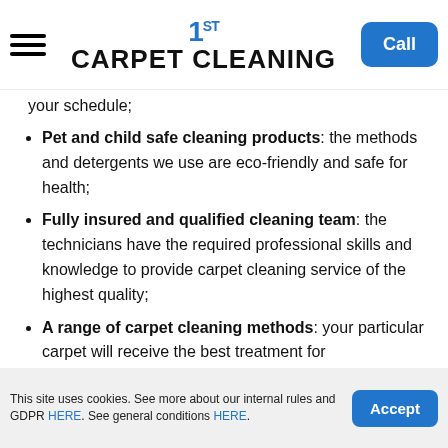1ST CARPET CLEANING | Call
your schedule;
Pet and child safe cleaning products: the methods and detergents we use are eco-friendly and safe for health;
Fully insured and qualified cleaning team: the technicians have the required professional skills and knowledge to provide carpet cleaning service of the highest quality;
A range of carpet cleaning methods: your particular carpet will receive the best treatment for its specific characteristics;
This site uses cookies. See more about our internal rules and GDPR HERE. See general conditions HERE. | Accept